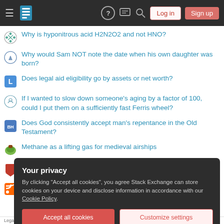Stack Exchange navigation bar with Log in and Sign up buttons
Why is hyponitrous acid H2N2O2 and not HNO?
Why would Sam NOT note the date when his own daughter was born?
Does legal aid eligibility go by assets or net worth?
If I wanted to slow down someone's aging by a factor of 100, could I put them on a sufficiently fast Ferris wheel?
Does God consistently accept man's repentance in the Old Testament?
Methane as a lifting gas for medieval airships
Is it a natural expression to ask 'do you not want to come'?
Question feed
Your privacy
By clicking "Accept all cookies", you agree Stack Exchange can store cookies on your device and disclose information in accordance with our Cookie Policy.
Accept all cookies   Customize settings
Legal   Privacy Policy   Terms of Service   Cookie Settings   Cookie Policy